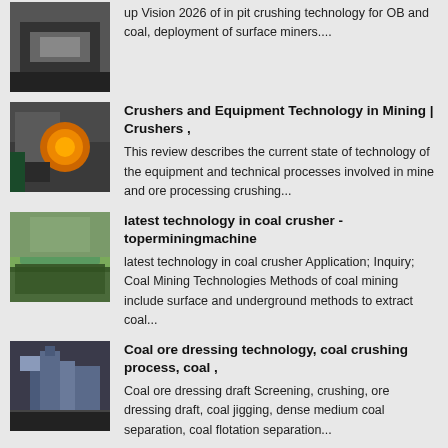up Vision 2026 of in pit crushing technology for OB and coal, deployment of surface miners....
[Figure (photo): Mining equipment photo - crusher/mining scene]
Crushers and Equipment Technology in Mining | Crushers ,
This review describes the current state of technology of the equipment and technical processes involved in mine and ore processing crushing...
[Figure (photo): Outdoor mining/crushing equipment scene with green vegetation]
latest technology in coal crusher - toperminingmachine
latest technology in coal crusher Application; Inquiry; Coal Mining Technologies Methods of coal mining include surface and underground methods to extract coal...
[Figure (photo): Industrial coal processing facility with machinery]
Coal ore dressing technology, coal crushing process, coal ,
Coal ore dressing draft Screening, crushing, ore dressing draft, coal jigging, dense medium coal separation, coal flotation separation...
Prev: high copy of tag heuer 2000 micro grinder
Next: bauxite crusher machine in india price for sale